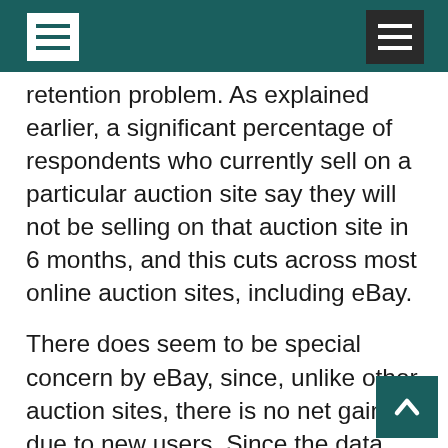retention problem. As explained earlier, a significant percentage of respondents who currently sell on a particular auction site say they will not be selling on that auction site in 6 months, and this cuts across most online auction sites, including eBay.
There does seem to be special concern by eBay, since, unlike other auction sites, there is no net gain due to new users. Since the data reflects respondents' intentions, not actions, the data could reflect a temporary malaise among online auction sellers. We believe the fourth quarter (historically the busiest due to holiday shoppers) will be